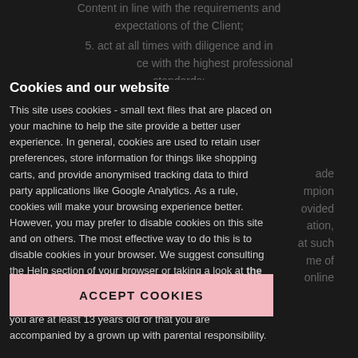Content in line with the requirements and expectations of the Client;
5. act at all times with diligence and in accordance with the highest professional standards;
6. efficiently manage its online Tutoring calendars, keep the Tutors availability up to date so Champion Tutors is able to provide an effectively functioning
made Champion provided information, expertise and competency and are at such dates and times that, at the time of booking, are shown under the online booking calendars on the Site as being available to provide Tutoring Services;
Champion Tutor that Tuition Fees have been received and held by Champion Tutor
Cookies and our website
This site uses cookies - small text files that are placed on your machine to help the site provide a better user experience. In general, cookies are used to retain user preferences, store information for things like shopping carts, and provide anonymised tracking data to third party applications like Google Analytics. As a rule, cookies will make your browsing experience better. However, you may prefer to disable cookies on this site and on others. The most effective way to do this is to disable cookies in your browser. We suggest consulting the Help section of your browser or taking a look at the About Cookies website which offers guidance for all modern browsers. By accepting the cookies you confirm you are at least 13 years old or that you are accompanied by a grown up with parental responsibility.
ACCEPT COOKIES